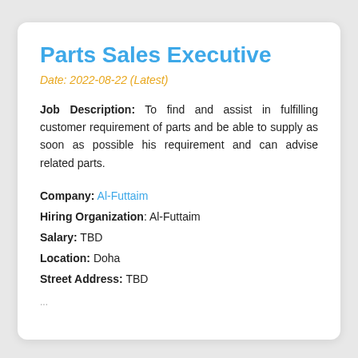Parts Sales Executive
Date: 2022-08-22 (Latest)
Job Description: To find and assist in fulfilling customer requirement of parts and be able to supply as soon as possible his requirement and can advise related parts.
Company: Al-Futtaim
Hiring Organization: Al-Futtaim
Salary: TBD
Location: Doha
Street Address: TBD
...